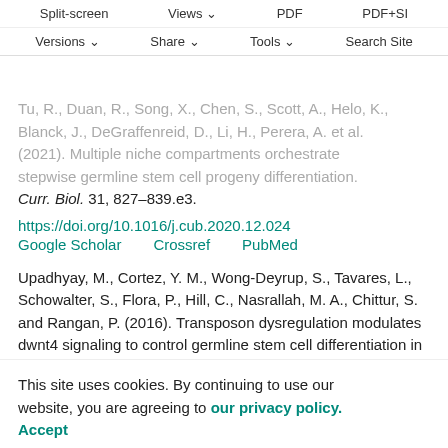Split-screen  Views  PDF  PDF+SI  Versions  Share  Tools  Search Site
Tu, R., Duan, R., Song, X., Chen, S., Scott, A., Helo, K., Blanck, J., DeGraffenreid, D., Li, H., Perera, A. et al. (2021). Multiple niche compartments orchestrate stepwise germline stem cell progeny differentiation. Curr. Biol. 31, 827–839.e3.
https://doi.org/10.1016/j.cub.2020.12.024
Google Scholar   Crossref   PubMed
Upadhyay, M., Cortez, Y. M., Wong-Deyrup, S., Tavares, L., Schowalter, S., Flora, P., Hill, C., Nasrallah, M. A., Chittur, S. and Rangan, P. (2016). Transposon dysregulation modulates dwnt4 signaling to control germline stem cell differentiation in Drosophila. PLoS Genet. 12, e1005918.
https://doi.org/10.1371/journal.pgen.1005918
Wang, X. and Page-McCaw, A. (2018). Wnt6 maintains anterior escort cells as an integral component of the
This site uses cookies. By continuing to use our website, you are agreeing to our privacy policy. Accept